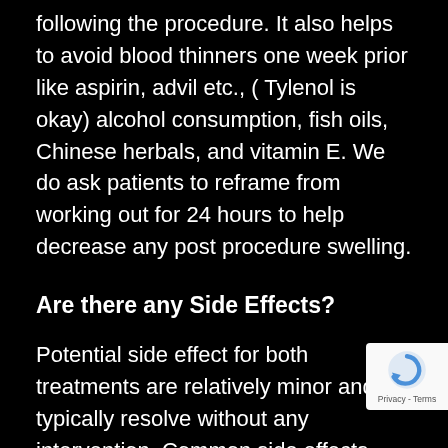following the procedure. It also helps to avoid blood thinners one week prior like aspirin, advil etc., ( Tylenol is okay) alcohol consumption, fish oils, Chinese herbals, and vitamin E. We do ask patients to reframe from working out for 24 hours to help decrease any post procedure swelling.
Are there any Side Effects?
Potential side effect for both treatments are relatively minor and typically resolve without any intervention. Common side effects may include bruising, swelling, redness, rash, or pain around the site of the injection. Serious side effects are rare and can include allergic reactions.